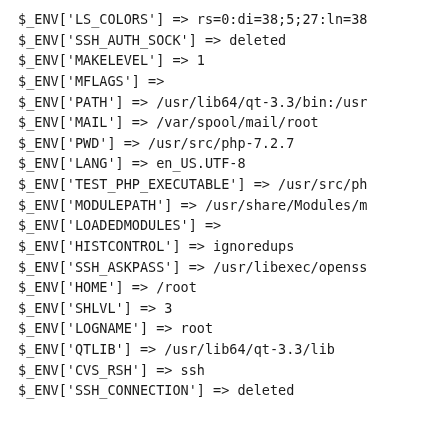$_ENV['LS_COLORS'] => rs=0:di=38;5;27:ln=38
$_ENV['SSH_AUTH_SOCK'] => deleted
$_ENV['MAKELEVEL'] => 1
$_ENV['MFLAGS'] =>
$_ENV['PATH'] => /usr/lib64/qt-3.3/bin:/usr
$_ENV['MAIL'] => /var/spool/mail/root
$_ENV['PWD'] => /usr/src/php-7.2.7
$_ENV['LANG'] => en_US.UTF-8
$_ENV['TEST_PHP_EXECUTABLE'] => /usr/src/ph
$_ENV['MODULEPATH'] => /usr/share/Modules/m
$_ENV['LOADEDMODULES'] =>
$_ENV['HISTCONTROL'] => ignoredups
$_ENV['SSH_ASKPASS'] => /usr/libexec/openss
$_ENV['HOME'] => /root
$_ENV['SHLVL'] => 3
$_ENV['LOGNAME'] => root
$_ENV['QTLIB'] => /usr/lib64/qt-3.3/lib
$_ENV['CVS_RSH'] => ssh
$_ENV['SSH_CONNECTION'] => deleted